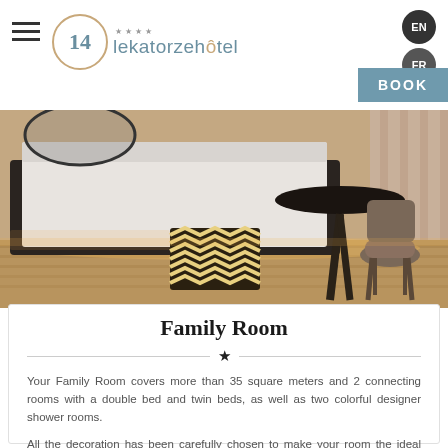14 lekatorzehotel **** EN FR BOOK
[Figure (photo): Hotel family room interior showing a bed with white linen, a decorative patterned ottoman/stool, a round table with metal legs, and a textured armchair, with warm lighting on wooden floors and beige curtains]
Family Room
Your Family Room covers more than 35 square meters and 2 connecting rooms with a double bed and twin beds, as well as two colorful designer shower rooms.
All the decoration has been carefully chosen to make your room the ideal base for your Parisian outings.